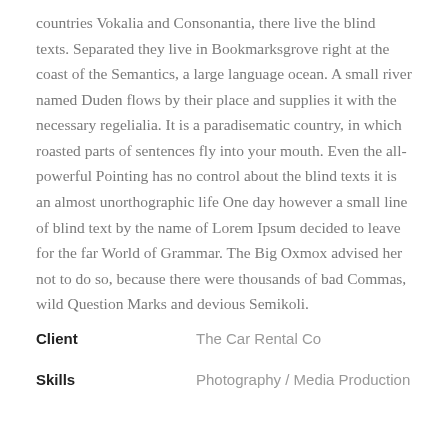countries Vokalia and Consonantia, there live the blind texts. Separated they live in Bookmarksgrove right at the coast of the Semantics, a large language ocean. A small river named Duden flows by their place and supplies it with the necessary regelialia. It is a paradisematic country, in which roasted parts of sentences fly into your mouth. Even the all-powerful Pointing has no control about the blind texts it is an almost unorthographic life One day however a small line of blind text by the name of Lorem Ipsum decided to leave for the far World of Grammar. The Big Oxmox advised her not to do so, because there were thousands of bad Commas, wild Question Marks and devious Semikoli.
Client: The Car Rental Co
Skills: Photography / Media Production